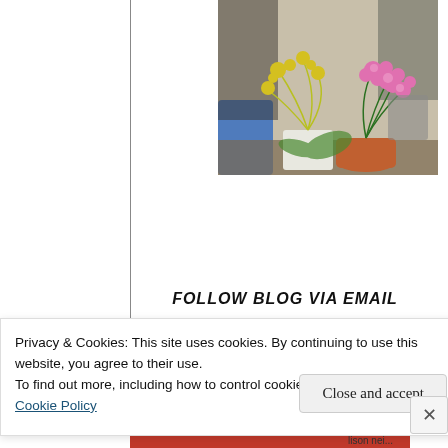[Figure (photo): Photograph of potted plants with yellow and pink flowers, including ferns and chrysanthemums, arranged outdoors with blue and terracotta pots visible.]
FOLLOW BLOG VIA EMAIL
Privacy & Cookies: This site uses cookies. By continuing to use this website, you agree to their use.
To find out more, including how to control cookies, see here:
Cookie Policy
Close and accept